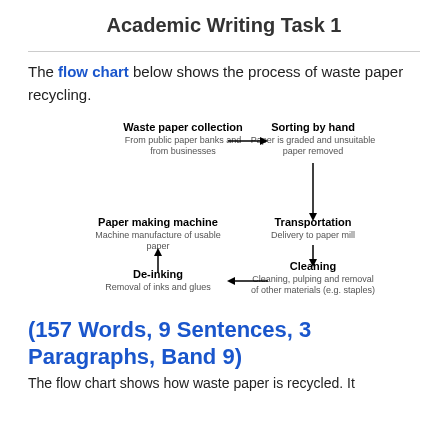Academic Writing Task 1
The flow chart below shows the process of waste paper recycling.
[Figure (flowchart): Flowchart showing the waste paper recycling process: Waste paper collection → Sorting by hand → Transportation → Cleaning → De-inking → Paper making machine (cycle)]
(157 Words, 9 Sentences, 3 Paragraphs, Band 9)
The flow chart shows how waste paper is recycled. It